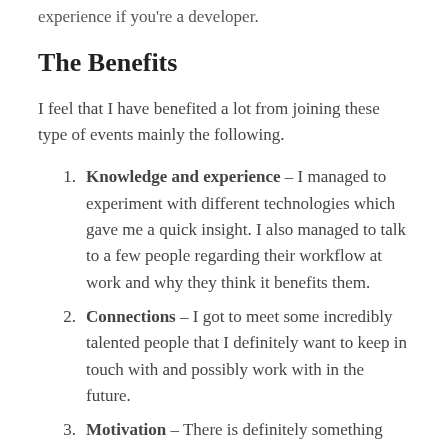experience if you're a developer.
The Benefits
I feel that I have benefited a lot from joining these type of events mainly the following.
Knowledge and experience – I managed to experiment with different technologies which gave me a quick insight. I also managed to talk to a few people regarding their workflow at work and why they think it benefits them.
Connections – I got to meet some incredibly talented people that I definitely want to keep in touch with and possibly work with in the future.
Motivation – There is definitely something special when you have so many talented people